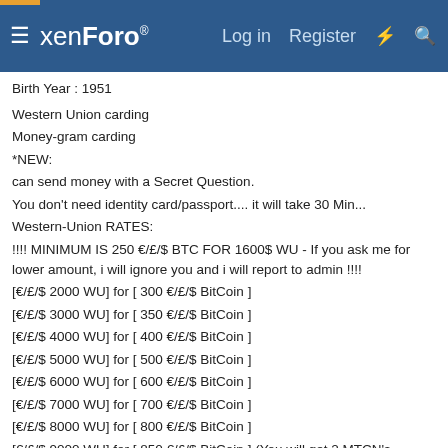xenForo — Log in  Register
Birth Year : 1951
Western Union carding
Money-gram carding
*NEW:
can send money with a Secret Question.
You don't need identity card/passport.... it will take 30 Min...
Western-Union RATES:
!!!! MINIMUM IS 250 €/£/$ BTC FOR 1600$ WU - If you ask me for lower amount, i will ignore you and i will report to admin !!!!
[€/£/$ 2000 WU] for [ 300 €/£/$ BitCoin ]
[€/£/$ 3000 WU] for [ 350 €/£/$ BitCoin ]
[€/£/$ 4000 WU] for [ 400 €/£/$ BitCoin ]
[€/£/$ 5000 WU] for [ 500 €/£/$ BitCoin ]
[€/£/$ 6000 WU] for [ 600 €/£/$ BitCoin ]
[€/£/$ 7000 WU] for [ 700 €/£/$ BitCoin ]
[€/£/$ 8000 WU] for [ 800 €/£/$ BitCoin ]
[€/£/$ 9000 WU] for [ 850 €/£/$ BitCoin ] (You will get 2 MTCN's. 4500€/£/$ and 4500€/£/$)